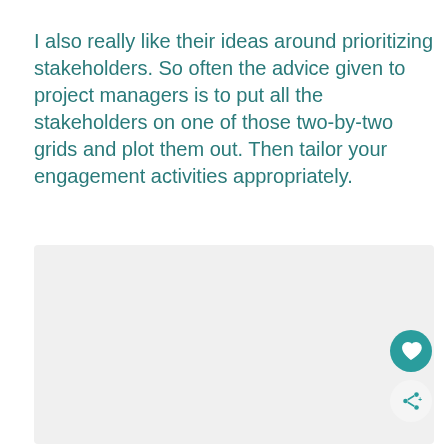I also really like their ideas around prioritizing stakeholders. So often the advice given to project managers is to put all the stakeholders on one of those two-by-two grids and plot them out. Then tailor your engagement activities appropriately.
[Figure (other): Light gray rectangular placeholder image area]